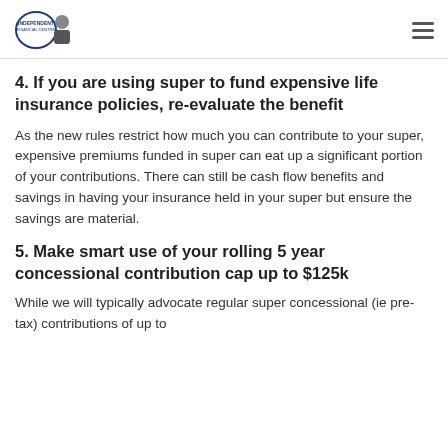Independent Financial Centre [logo]
4. If you are using super to fund expensive life insurance policies, re-evaluate the benefit
As the new rules restrict how much you can contribute to your super, expensive premiums funded in super can eat up a significant portion of your contributions. There can still be cash flow benefits and savings in having your insurance held in your super but ensure the savings are material.
5. Make smart use of your rolling 5 year concessional contribution cap up to $125k
While we will typically advocate regular super concessional (ie pre-tax) contributions of up to